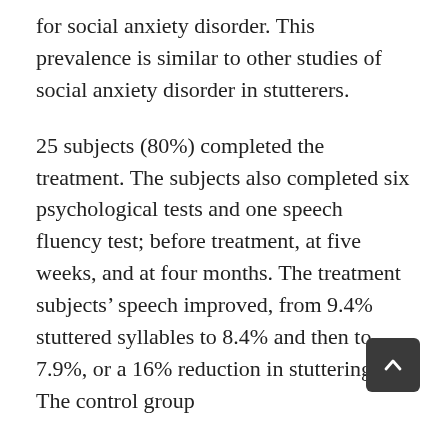for social anxiety disorder. This prevalence is similar to other studies of social anxiety disorder in stutterers.
25 subjects (80%) completed the treatment. The subjects also completed six psychological tests and one speech fluency test; before treatment, at five weeks, and at four months. The treatment subjects’ speech improved, from 9.4% stuttered syllables to 8.4% and then to 7.9%, or a 16% reduction in stuttering. The control group